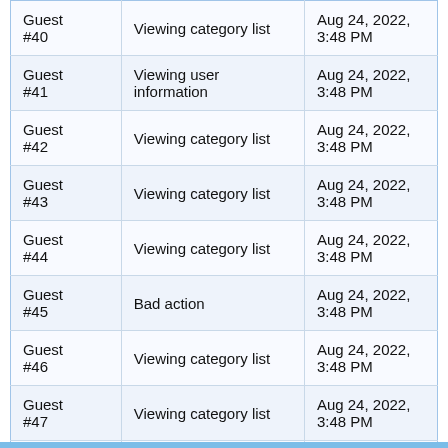| User | Action | Date |
| --- | --- | --- |
| Guest #40 | Viewing category list | Aug 24, 2022, 3:48 PM |
| Guest #41 | Viewing user information | Aug 24, 2022, 3:48 PM |
| Guest #42 | Viewing category list | Aug 24, 2022, 3:48 PM |
| Guest #43 | Viewing category list | Aug 24, 2022, 3:48 PM |
| Guest #44 | Viewing category list | Aug 24, 2022, 3:48 PM |
| Guest #45 | Bad action | Aug 24, 2022, 3:48 PM |
| Guest #46 | Viewing category list | Aug 24, 2022, 3:48 PM |
| Guest #47 | Viewing category list | Aug 24, 2022, 3:48 PM |
| Guest #48 | Viewing category list | Aug 24, 2022, 3:48 PM |
| Guest #49 | Viewing category list | Aug 24, 2022, 3:48 PM |
| Guest #50 | Viewing forum | Aug 24, 2022, 3:48 PM |